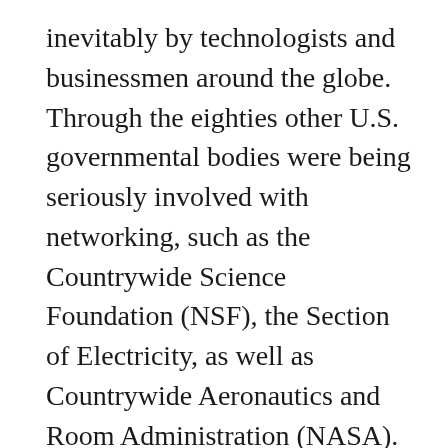inevitably by technologists and businessmen around the globe. Through the eighties other U.S. governmental bodies were being seriously involved with networking, such as the Countrywide Science Foundation (NSF), the Section of Electricity, as well as Countrywide Aeronautics and Room Administration (NASA). Whilst DARPA had performed a seminal part in making a modest-scale Edition of the online market place among the its scientists, NSF worked with DARPA to expand access to all the scientific and educational community and to help make TCP/IP the typical in all federally